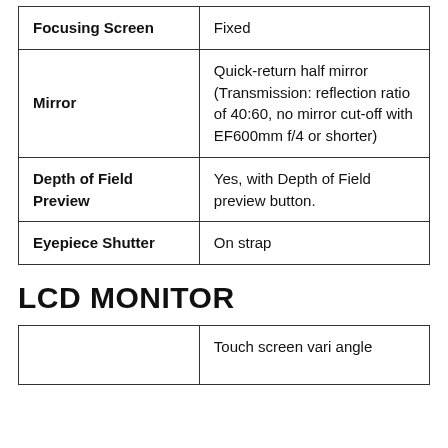| Feature | Value |
| --- | --- |
| Focusing Screen | Fixed |
| Mirror | Quick-return half mirror (Transmission: reflection ratio of 40:60, no mirror cut-off with EF600mm f/4 or shorter) |
| Depth of Field Preview | Yes, with Depth of Field preview button. |
| Eyepiece Shutter | On strap |
LCD MONITOR
| Feature | Value |
| --- | --- |
|  | Touch screen vari angle |